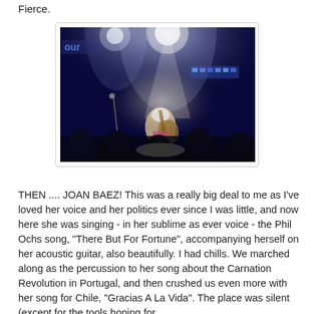Fierce.
[Figure (photo): Concert photo showing a performer on stage playing acoustic guitar under bright spotlights, with a crowd silhouetted in the foreground and blue stage lighting. A sign partially reading 'our' is visible in the upper left.]
THEN .... JOAN BAEZ! This was a really big deal to me as I've loved her voice and her politics ever since I was little, and now here she was singing - in her sublime as ever voice - the Phil Ochs song, "There But For Fortune", accompanying herself on her acoustic guitar, also beautifully. I had chills. We marched along as the percussion to her song about the Carnation Revolution in Portugal, and then crushed us even more with her song for Chile, "Gracias A La Vida". The place was silent (except for the tools hoping for